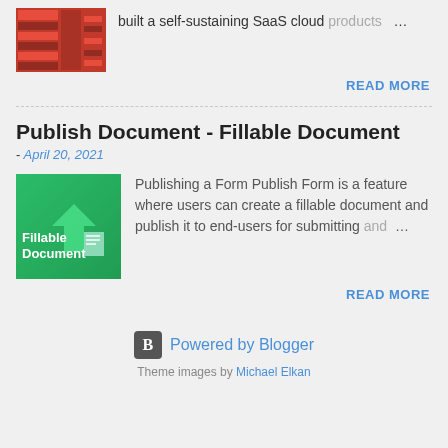[Figure (screenshot): Thumbnail image of a red-themed SaaS cloud product post]
built a self-sustaining SaaS cloud products …
READ MORE
Publish Document - Fillable Document
- April 20, 2021
[Figure (illustration): Green thumbnail image labeled Fillable Document]
Publishing a Form Publish Form is a feature where users can create a fillable document and publish it to end-users for submitting and …
READ MORE
Powered by Blogger
Theme images by Michael Elkan